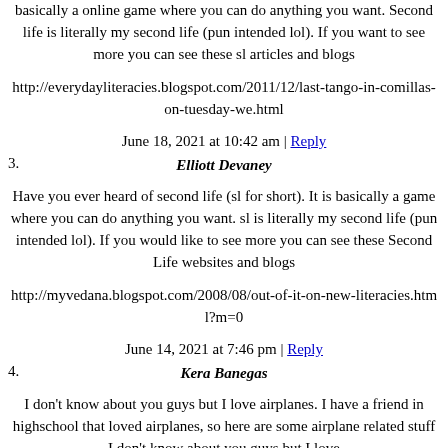basically a online game where you can do anything you want. Second life is literally my second life (pun intended lol). If you want to see more you can see these sl articles and blogs
http://everydayliteracies.blogspot.com/2011/12/last-tango-in-comillas-on-tuesday-we.html
June 18, 2021 at 10:42 am | Reply
3. Elliott Devaney
Have you ever heard of second life (sl for short). It is basically a game where you can do anything you want. sl is literally my second life (pun intended lol). If you would like to see more you can see these Second Life websites and blogs
http://myvedana.blogspot.com/2008/08/out-of-it-on-new-literacies.html?m=0
June 14, 2021 at 7:46 pm | Reply
4. Kera Banegas
I don't know about you guys but I love airplanes. I have a friend in highschool that loved airplanes, so here are some airplane related stuff I don't know about you guys but I love